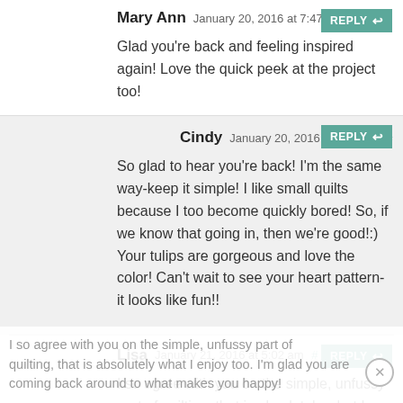Mary Ann January 20, 2016 at 7:47 pm #
Glad you're back and feeling inspired again! Love the quick peek at the project too!
Cindy January 20, 2016 at 8:53 pm #
So glad to hear you're back! I'm the same way-keep it simple! I like small quilts because I too become quickly bored! So, if we know that going in, then we're good!:) Your tulips are gorgeous and love the color! Can't wait to see your heart pattern- it looks like fun!!
Lisa January 21, 2016 at 5:02 am #
I so agree with you on the simple, unfussy part of quilting, that is absolutely what I enjoy too. I'm glad you are coming back around to what makes you happy!